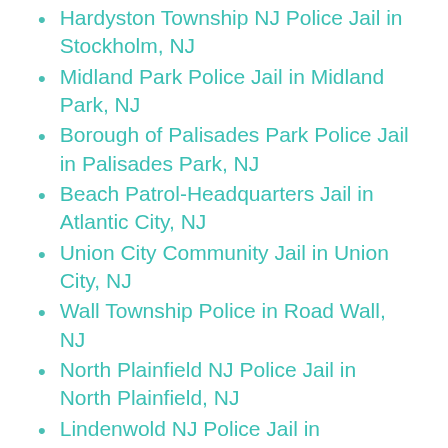Hardyston Township NJ Police Jail in Stockholm, NJ
Midland Park Police Jail in Midland Park, NJ
Borough of Palisades Park Police Jail in Palisades Park, NJ
Beach Patrol-Headquarters Jail in Atlantic City, NJ
Union City Community Jail in Union City, NJ
Wall Township Police in Road Wall, NJ
North Plainfield NJ Police Jail in North Plainfield, NJ
Lindenwold NJ Police Jail in Lindenwold, NJ
Stafford Township Police Jail in